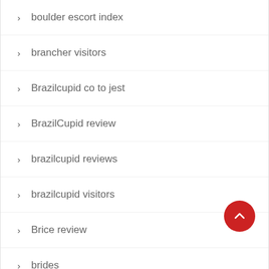boulder escort index
brancher visitors
Brazilcupid co to jest
BrazilCupid review
brazilcupid reviews
brazilcupid visitors
Brice review
brides
bridgeport escort sites
brilic login
brilic vivere
bristlr dating
Bristlr elite rencontre
broken arrow escort index
broken arrow live escort